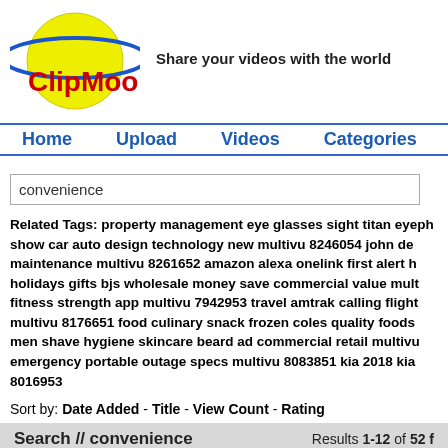[Figure (logo): ClipMoon logo: yellow circle with blue orbit ring and red 'ClipMoon' text]
Share your videos with the world
Home  Upload  Videos  Categories  P
convenience
Related Tags: property management eye glasses sight titan eyeph show car auto design technology new multivu 8246054 john de maintenance multivu 8261652 amazon alexa onelink first alert h holidays gifts bjs wholesale money save commercial value mult fitness strength app multivu 7942953 travel amtrak calling flight multivu 8176651 food culinary snack frozen coles quality foods men shave hygiene skincare beard ad commercial retail multivu emergency portable outage specs multivu 8083851 kia 2018 kia 8016953
Sort by: Date Added - Title - View Count - Rating
Search // convenience    Results 1-12 of 52 f
[Figure (photo): Thumbnail image 1: person in room]
[Figure (photo): Thumbnail image 2: person in dark room]
[Figure (photo): Thumbnail image 3: person near framed picture]